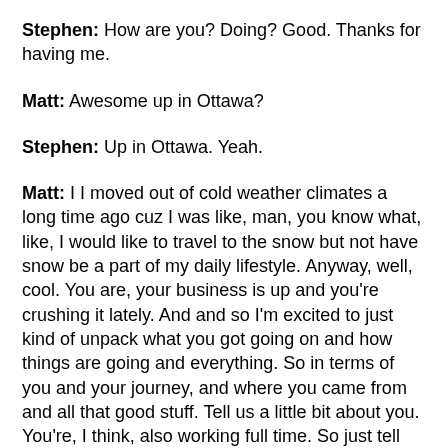Stephen: How are you? Doing? Good. Thanks for having me.
Matt: Awesome up in Ottawa?
Stephen: Up in Ottawa. Yeah.
Matt: I I moved out of cold weather climates a long time ago cuz I was like, man, you know what, like, I would like to travel to the snow but not have snow be a part of my daily lifestyle. Anyway, well, cool. You are, your business is up and you're crushing it lately. And and so I'm excited to just kind of unpack what you got going on and how things are going and everything. So in terms of you and your journey, and where you came from and all that good stuff. Tell us a little bit about you. You're, I think, also working full time. So just tell